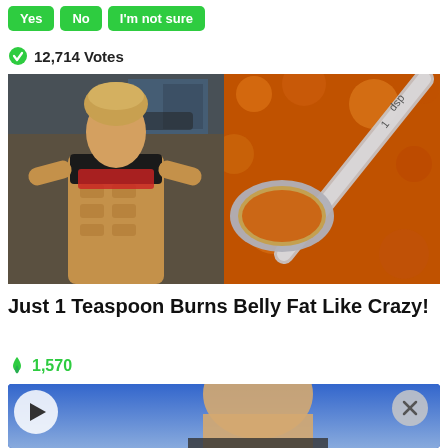Yes
No
I'm not sure
12,714 Votes
[Figure (photo): Split image: left side shows a muscular fit woman lifting her shirt to show abs in a gym; right side shows a metal measuring spoon filled with orange spice powder]
Just 1 Teaspoon Burns Belly Fat Like Crazy!
1,570
[Figure (screenshot): Video thumbnail showing a man's face on a blue background with a play button overlay on the left and a close/X button on the right]